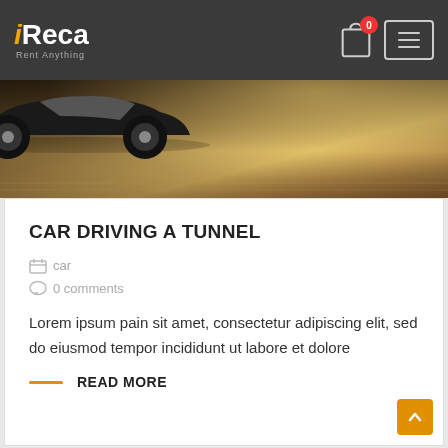iReca Rent Anything
[Figure (photo): Car silhouette against warm golden-toned background, parking lot or road surface visible]
CAR DRIVING A TUNNEL
car
0 comments
Lorem ipsum pain sit amet, consectetur adipiscing elit, sed do eiusmod tempor incididunt ut labore et dolore
READ MORE